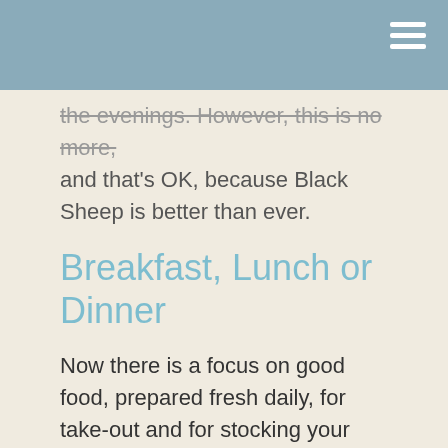the evenings. However, this is no more, and that's OK, because Black Sheep is better than ever.
Breakfast, Lunch or Dinner
Now there is a focus on good food, prepared fresh daily, for take-out and for stocking your pantry. It's like a little European market.
There's amazing cheeses, dried sausages, crackers, dips (like the very tasty spicy buffalo dip), housemade desserts, breads and more.